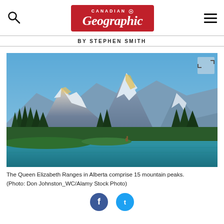Canadian Geographic
BY STEPHEN SMITH
[Figure (photo): The Queen Elizabeth Ranges in Alberta: snow-capped mountain peaks with golden sunrise light, evergreen forest, and a turquoise lake in the foreground with deer near the water.]
The Queen Elizabeth Ranges in Alberta comprise 15 mountain peaks. (Photo: Don Johnston_WC/Alamy Stock Photo)